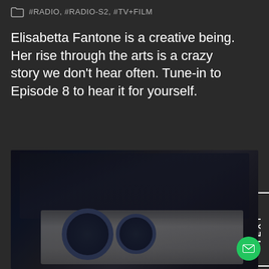#RADIO, #RADIO-S2, #TV+FILM
Elisabetta Fantone is a creative being. Her rise through the arts is a crazy story we don't hear often. Tune-in to Episode 8 to hear it for yourself.
Read more
[Figure (photo): Dark photo of audio/radio production equipment including monitor screens and mixing dials/knobs on a studio desk]